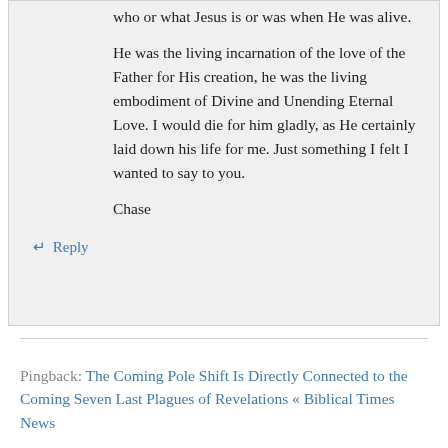who or what Jesus is or was when He was alive.
He was the living incarnation of the love of the Father for His creation, he was the living embodiment of Divine and Unending Eternal Love. I would die for him gladly, as He certainly laid down his life for me. Just something I felt I wanted to say to you.
Chase
↵ Reply
Pingback: The Coming Pole Shift Is Directly Connected to the Coming Seven Last Plagues of Revelations « Biblical Times News